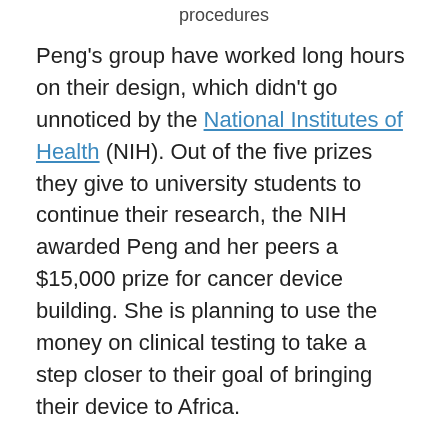procedures
Peng’s group have worked long hours on their design, which didn’t go unnoticed by the National Institutes of Health (NIH). Out of the five prizes they give to university students to continue their research, the NIH awarded Peng and her peers a $15,000 prize for cancer device building. She is planning to use the money on clinical testing to take a step closer to their goal of bringing their device to Africa.
Peng shows
an example
of the